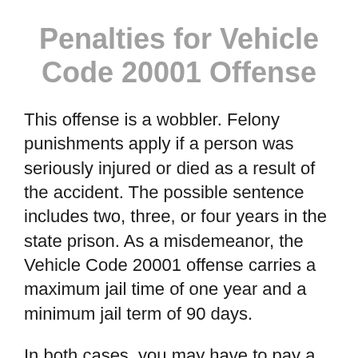Penalties for Vehicle Code 20001 Offense
This offense is a wobbler. Felony punishments apply if a person was seriously injured or died as a result of the accident. The possible sentence includes two, three, or four years in the state prison. As a misdemeanor, the Vehicle Code 20001 offense carries a maximum jail time of one year and a minimum jail term of 90 days.
In both cases, you may have to pay a fine ranging from $1,000 dollars to $10,000...